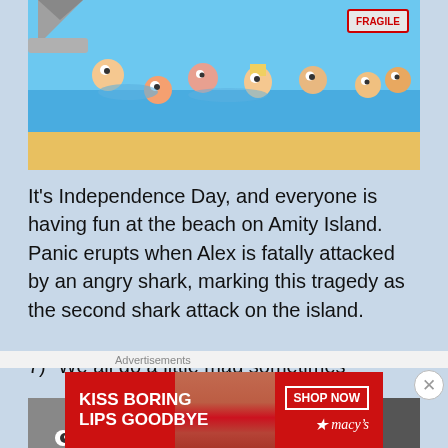[Figure (illustration): Animated cartoon scene of children at a beach on Independence Day with a shark attack occurring. Characters are shown in water and on sand, with a 'FRAGILE' sign visible on the right side.]
It’s Independence Day, and everyone is having fun at the beach on Amity Island. Panic erupts when Alex is fatally attacked by an angry shark, marking this tragedy as the second shark attack on the island.
7) “We all go a little mad sometimes”
[Figure (screenshot): Cartoon/animated scene in dark grayscale tones showing an alley or street with trash cans, a broken wall, and cartoon eyes visible in the lower left corner.]
Advertisements
[Figure (illustration): Macy’s advertisement banner with red background. Left side reads 'KISS BORING LIPS GOODBYE' in white bold text, right side shows 'SHOP NOW' button and Macy’s star logo. Center shows a woman's face with red lips.]